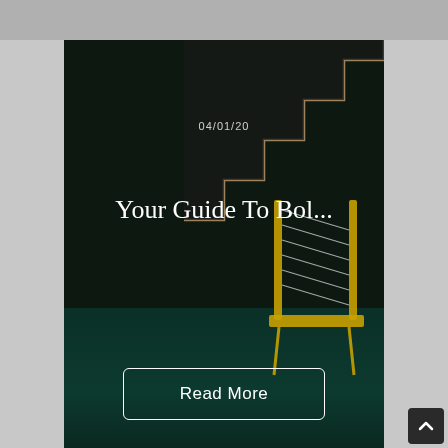[Figure (photo): Dark interior scene with wooden stairs along the right wall and a yellow/black modern chair on a teal floor. Date '04/01/20' displayed near top center. Title text 'Your Guide To Bol...' overlaid in white serif font. A 'Read More' button appears near the bottom.]
04/01/20
Your Guide To Bol...
Read More